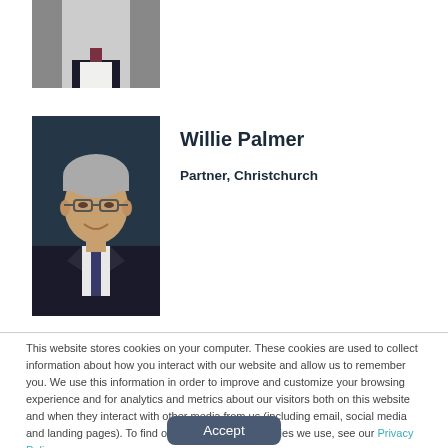[Figure (photo): Partial photo of a man in a dark suit with a dark tie, cropped at the top of the page]
[Figure (photo): Portrait photo of Willie Palmer, a man with grey hair and glasses wearing a dark suit and tie, against a dark blue background]
Willie Palmer
Partner, Christchurch
This website stores cookies on your computer. These cookies are used to collect information about how you interact with our website and allow us to remember you. We use this information in order to improve and customize your browsing experience and for analytics and metrics about our visitors both on this website and when they interact with other media from us (including email, social media and landing pages). To find out more about the cookies we use, see our Privacy Policy.
Accept